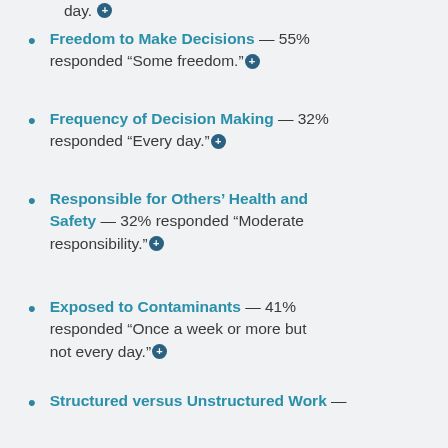day. [plus icon]
Freedom to Make Decisions — 55% responded “Some freedom.” [plus icon]
Frequency of Decision Making — 32% responded “Every day.” [plus icon]
Responsible for Others’ Health and Safety — 32% responded “Moderate responsibility.” [plus icon]
Exposed to Contaminants — 41% responded “Once a week or more but not every day.” [plus icon]
Structured versus Unstructured Work — 45% responded “Some freedom.” [plus icon]
Consequence of Error — 32%